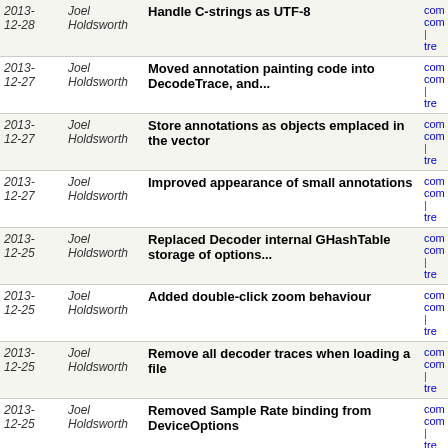| Date | Author | Message | Links |
| --- | --- | --- | --- |
| 2013-12-28 | Joel Holdsworth | Handle C-strings as UTF-8 | com com | tree |
| 2013-12-27 | Joel Holdsworth | Moved annotation painting code into DecodeTrace, and... | com com | tree |
| 2013-12-27 | Joel Holdsworth | Store annotations as objects emplaced in the vector | com com | tree |
| 2013-12-27 | Joel Holdsworth | Improved appearance of small annotations | com com | tree |
| 2013-12-25 | Joel Holdsworth | Replaced Decoder internal GHashTable storage of options... | com com | tree |
| 2013-12-25 | Joel Holdsworth | Added double-click zoom behaviour | com com | tree |
| 2013-12-25 | Joel Holdsworth | Remove all decoder traces when loading a file | com com | tree |
| 2013-12-25 | Joel Holdsworth | Removed Sample Rate binding from DeviceOptions | com com | tree |
| 2013-12-25 | Joel Holdsworth | Populate sample rate widget with correct initial value | com com | tree |
| 2013-12-09 | Joel Holdsworth | Moved RulerHeight out of View into Ruler | com com | tree |
| 2013-12-09 | Joel Holdsworth | Make header width responsive to label text | com com | tree |
| 2013-12-09 | Joel Holdsworth | Removed use of LabelMarginWidth | com com | tree |
| 2013-12-09 | Joel Holdsworth | Added zoom one-to-one | com com | tree |